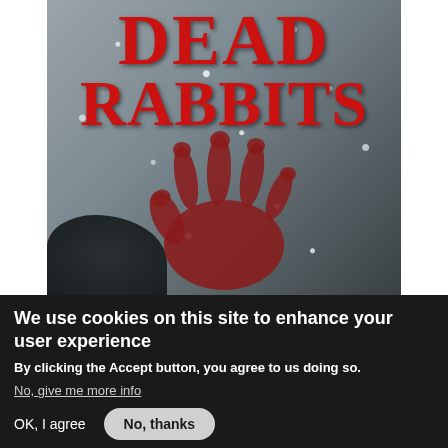[Figure (illustration): Book cover showing 'DEAD RABBITS' in large red serif text over a dark snowy/rocky background with a large red handprint in the center]
We use cookies on this site to enhance your user experience
By clicking the Accept button, you agree to us doing so.
No, give me more info
OK, I agree
No, thanks